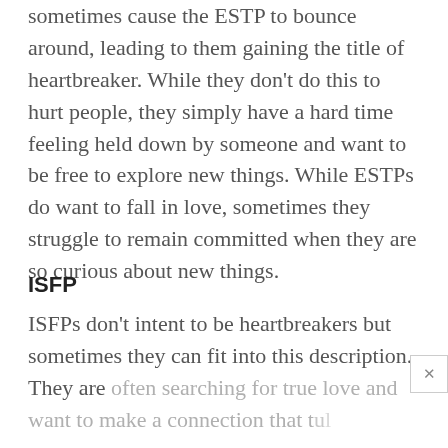sometimes cause the ESTP to bounce around, leading to them gaining the title of heartbreaker. While they don't do this to hurt people, they simply have a hard time feeling held down by someone and want to be free to explore new things. While ESTPs do want to fall in love, sometimes they struggle to remain committed when they are so curious about new things.
ISFP
ISFPs don't intent to be heartbreakers but sometimes they can fit into this description. They are often searching for true love and want to make a connection that t...